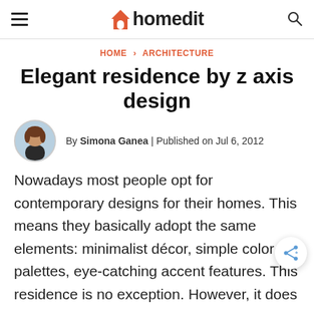homedit
HOME › ARCHITECTURE
Elegant residence by z axis design
By Simona Ganea | Published on Jul 6, 2012
Nowadays most people opt for contemporary designs for their homes. This means they basically adopt the same elements: minimalist décor, simple color palettes, eye-catching accent features. This residence is no exception. However, it does